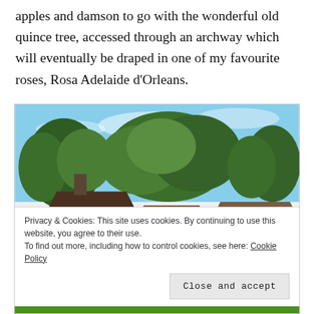apples and damson to go with the wonderful old quince tree, accessed through an archway which will eventually be draped in one of my favourite roses, Rosa Adelaide d'Orleans.
[Figure (photo): Garden scene with a timber-framed cottage, large trees, rooftops, and lawn. A cookie consent banner overlays the lower portion.]
Privacy & Cookies: This site uses cookies. By continuing to use this website, you agree to their use.
To find out more, including how to control cookies, see here: Cookie Policy